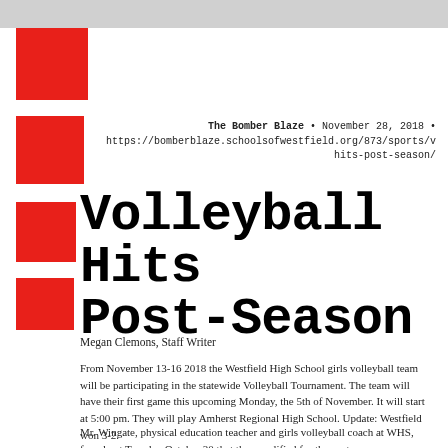The Bomber Blaze • November 28, 2018 • https://bomberblaze.schoolsofwestfield.org/873/sports/v hits-post-season/
Volleyball Hits Post-Season
Megan Clemons, Staff Writer
From November 13-16 2018 the Westfield High School girls volleyball team will be participating in the statewide Volleyball Tournament. The team will have their first game this upcoming Monday, the 5th of November. It will start at 5:00 pm. They will play Amherst Regional High School. Update: Westfield won 3-2.
Mr. Wingate, physical education teacher and girls volleyball coach at WHS, found out Tuesday October 30 that they qualified for the postseason.